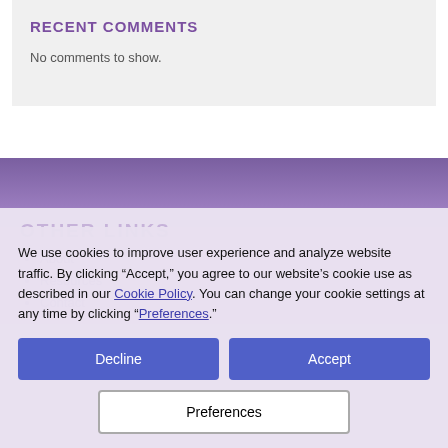RECENT COMMENTS
No comments to show.
OTHER LINKS
About
Resources
Contact
We use cookies to improve user experience and analyze website traffic. By clicking “Accept,” you agree to our website’s cookie use as described in our Cookie Policy. You can change your cookie settings at any time by clicking “Preferences.”
Decline
Accept
Preferences